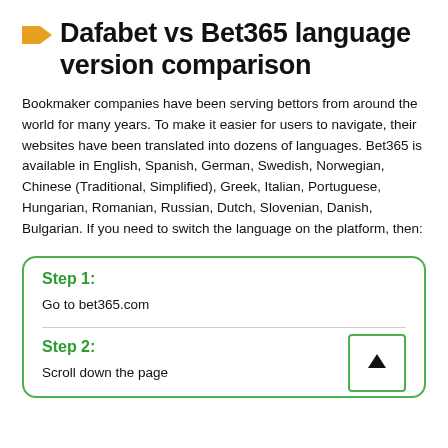Dafabet vs Bet365 language version comparison
Bookmaker companies have been serving bettors from around the world for many years. To make it easier for users to navigate, their websites have been translated into dozens of languages. Bet365 is available in English, Spanish, German, Swedish, Norwegian, Chinese (Traditional, Simplified), Greek, Italian, Portuguese, Hungarian, Romanian, Russian, Dutch, Slovenian, Danish, Bulgarian. If you need to switch the language on the platform, then:
Step 1:
Go to bet365.com
Step 2:
Scroll down the page